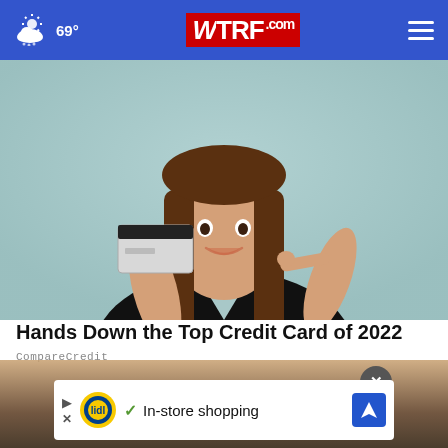69° | WTRF.com
[Figure (photo): Young woman smiling and holding up a credit card, pointing to it with her other hand, against a teal/mint background, wearing a black t-shirt]
Hands Down the Top Credit Card of 2022
CompareCredit
[Figure (photo): Bottom portion of page showing a blurred warm-toned background photo with an advertisement overlay. Ad shows Lidl logo with text 'In-store shopping' and a navigation arrow icon. There is a close (X) button in a gray circle.]